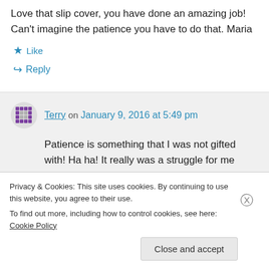Love that slip cover, you have done an amazing job! Can't imagine the patience you have to do that. Maria
★ Like
↪ Reply
Terry on January 9, 2016 at 5:49 pm
Patience is something that I was not gifted with! Ha ha! It really was a struggle for me
Privacy & Cookies: This site uses cookies. By continuing to use this website, you agree to their use.
To find out more, including how to control cookies, see here: Cookie Policy